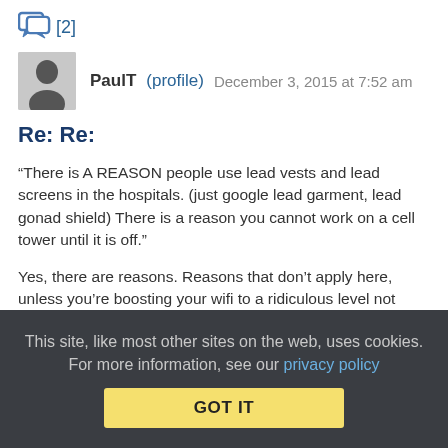[Figure (other): Comment/reply icon with count [2]]
PaulT (profile)   December 3, 2015 at 7:52 am
Re: Re:
“There is A REASON people use lead vests and lead screens in the hospitals. (just google lead garment, lead gonad shield) There is a reason you cannot work on a cell tower until it is off.”
Yes, there are reasons. Reasons that don’t apply here, unless you’re boosting your wifi to a ridiculous level not within the range of the device you were supplied with.
“It would be also interesting to see what kind of configuration does the school have for their wifi. ”
This site, like most other sites on the web, uses cookies. For more information, see our privacy policy
GOT IT